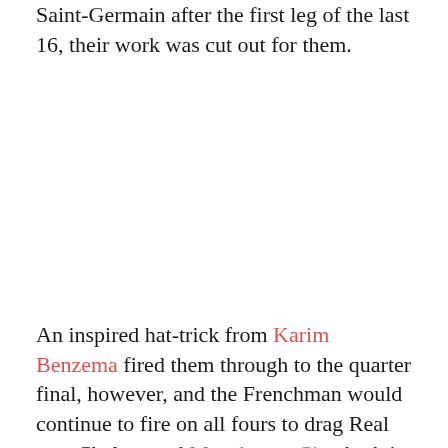Saint-Germain after the first leg of the last 16, their work was cut out for them.
An inspired hat-trick from Karim Benzema fired them through to the quarter final, however, and the Frenchman would continue to fire on all fours to drag Real past Chelsea and Manchester City, both in remarkable victories after extra time in